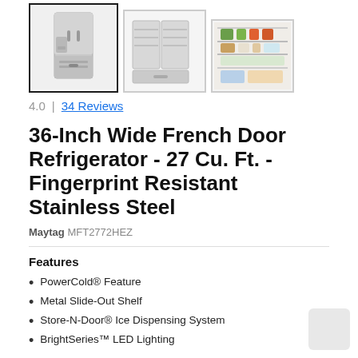[Figure (photo): Three product thumbnail images of a French door refrigerator. First shows full front view (selected/highlighted), second shows open doors view, third shows interior close-up.]
4.0  |  34 Reviews
36-Inch Wide French Door Refrigerator - 27 Cu. Ft. - Fingerprint Resistant Stainless Steel
Maytag MFT2772HEZ
Features
PowerCold® Feature
Metal Slide-Out Shelf
Store-N-Door® Ice Dispensing System
BrightSeries™ LED Lighting